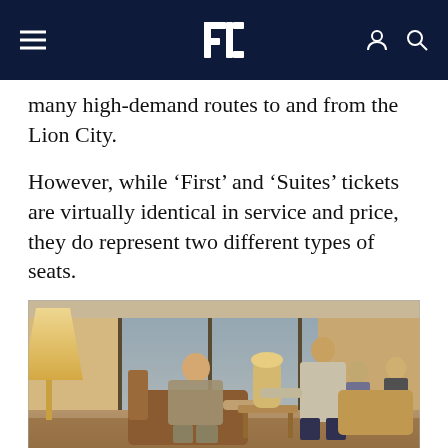Ec (logo navigation bar)
many high-demand routes to and from the Lion City.
However, while ‘First’ and ‘Suites’ tickets are virtually identical in service and price, they do represent two different types of seats.
[Figure (photo): A flight attendant serving a male passenger seated in a luxury airline lounge chair. The setting appears to be an upscale airport lounge with warm lighting, other guests seated in the background, and large windows.]